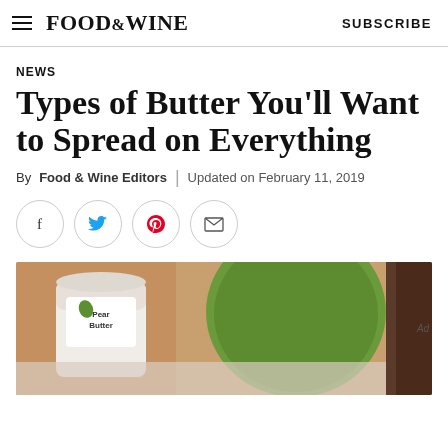FOOD&WINE   SUBSCRIBE
NEWS
Types of Butter You'll Want to Spread on Everything
By Food & Wine Editors | Updated on February 11, 2019
[Figure (other): Social share icons: Facebook, Twitter, Pinterest, Email]
[Figure (photo): Close-up photo of a jar of Pear Butter with a green apple and a dark knife handle visible]